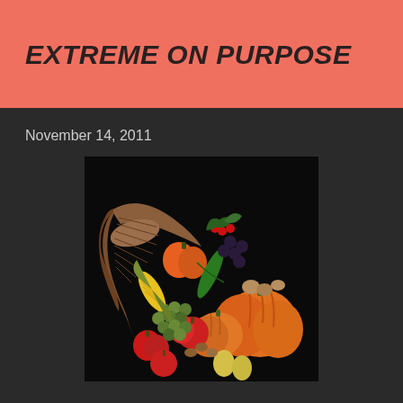EXTREME ON PURPOSE
November 14, 2011
[Figure (photo): A cornucopia (horn of plenty) overflowing with autumn harvest vegetables and fruits including pumpkins, apples, grapes, corn, peppers, pears, and other produce, photographed against a dark background.]